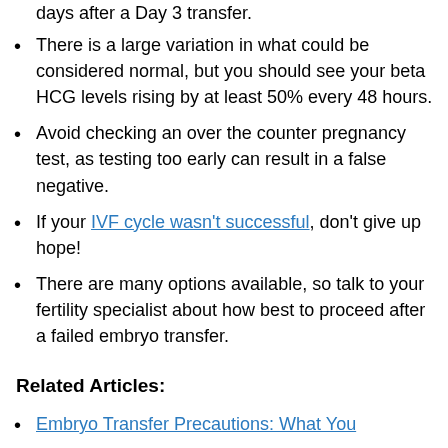days after a Day 3 transfer.
There is a large variation in what could be considered normal, but you should see your beta HCG levels rising by at least 50% every 48 hours.
Avoid checking an over the counter pregnancy test, as testing too early can result in a false negative.
If your IVF cycle wasn't successful, don't give up hope!
There are many options available, so talk to your fertility specialist about how best to proceed after a failed embryo transfer.
Related Articles:
Embryo Transfer Precautions: What You